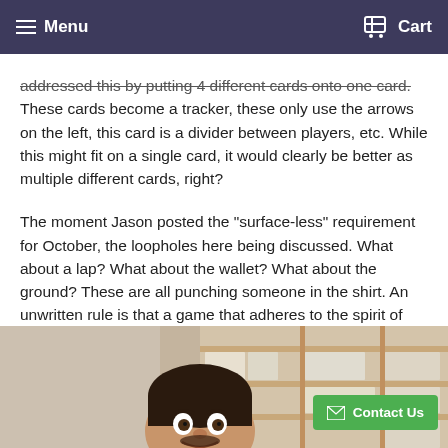Menu   Cart
addressed this by putting 4 different cards onto one card. These cards become a tracker, these only use the arrows on the left, this card is a divider between players, etc. While this might fit on a single card, it would clearly be better as multiple different cards, right?
The moment Jason posted the "surface-less" requirement for October, the loopholes here being discussed. What about a lap? What about the wallet? What about the ground? These are all punching someone in the shirt. An unwritten rule is that a game that adheres to the spirit of the contest will perform better than a game that doesn't. (Again, unwritten because there are exceptions. Looking at you Drive Like Hell).
[Figure (photo): Photo of a man with dark hair peeking up from behind a shelf/counter in what appears to be a storage room with shelving units full of boxes and papers. A green 'Contact Us' button overlay is visible in the bottom right.]